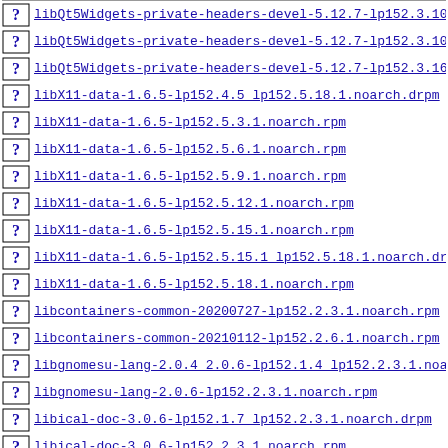libQt5Widgets-private-headers-devel-5.12.7-lp152.3.10
libQt5Widgets-private-headers-devel-5.12.7-lp152.3.10
libQt5Widgets-private-headers-devel-5.12.7-lp152.3.16
libX11-data-1.6.5-lp152.4.5 lp152.5.18.1.noarch.drpm
libX11-data-1.6.5-lp152.5.3.1.noarch.rpm
libX11-data-1.6.5-lp152.5.6.1.noarch.rpm
libX11-data-1.6.5-lp152.5.9.1.noarch.rpm
libX11-data-1.6.5-lp152.5.12.1.noarch.rpm
libX11-data-1.6.5-lp152.5.15.1.noarch.rpm
libX11-data-1.6.5-lp152.5.15.1 lp152.5.18.1.noarch.dr
libX11-data-1.6.5-lp152.5.18.1.noarch.rpm
libcontainers-common-20200727-lp152.2.3.1.noarch.rpm
libcontainers-common-20210112-lp152.2.6.1.noarch.rpm
libgnomesu-lang-2.0.4 2.0.6-lp152.1.4 lp152.2.3.1.noa
libgnomesu-lang-2.0.6-lp152.2.3.1.noarch.rpm
libical-doc-3.0.6-lp152.1.7 lp152.2.3.1.noarch.drpm
libical-doc-3.0.6-lp152.2.3.1.noarch.rpm